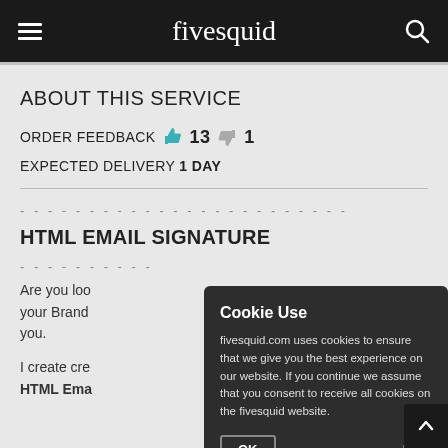fivesquid
ABOUT THIS SERVICE
ORDER FEEDBACK  13  1
EXPECTED DELIVERY 1 DAY
HTML EMAIL SIGNATURE
Are you loo... your Brand... you.
I create cre... HTML Ema...
Cookie Use
fivesquid.com uses cookies to ensure that we give you the best experience on our website. If you continue we assume that you consent to receive all cookies on the fivesquid website.
OK  More